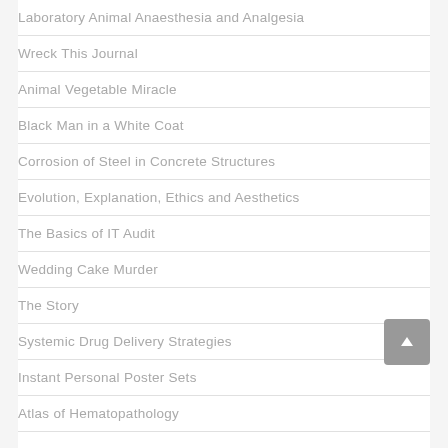Laboratory Animal Anaesthesia and Analgesia
Wreck This Journal
Animal Vegetable Miracle
Black Man in a White Coat
Corrosion of Steel in Concrete Structures
Evolution, Explanation, Ethics and Aesthetics
The Basics of IT Audit
Wedding Cake Murder
The Story
Systemic Drug Delivery Strategies
Instant Personal Poster Sets
Atlas of Hematopathology